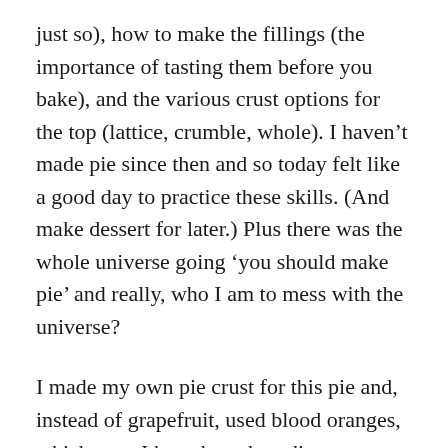just so), how to make the fillings (the importance of tasting them before you bake), and the various crust options for the top (lattice, crumble, whole). I haven't made pie since then and so today felt like a good day to practice these skills. (And make dessert for later.) Plus there was the whole universe going ‘you should make pie’ and really, who I am to mess with the universe?
I made my own pie crust for this pie and, instead of grapefruit, used blood oranges, which, yes, I have been hoarding carefully, not wanting the season to end. I also halved the original recipe,